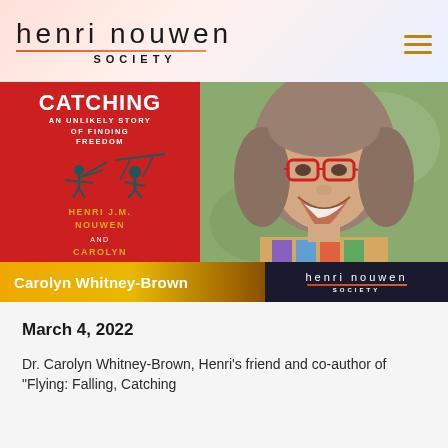henri nouwen SOCIETY
[Figure (photo): Hero banner showing the book cover of 'Catching: An Unlikely Story of Finding Freedom' by Henri J.M. Nouwen and Carolyn Whitney-Brown (red cover with teal trapeze figure) on the left, and a photo of Carolyn Whitney-Brown (smiling woman with curly hair and red glasses) on the right. Bottom bar shows the name 'Carolyn Whitney-Brown' on a gold/dark background and Henri Nouwen Society logo on a dark background.]
March 4, 2022
Dr. Carolyn Whitney-Brown, Henri's friend and co-author of 'Flying: Falling, Catching